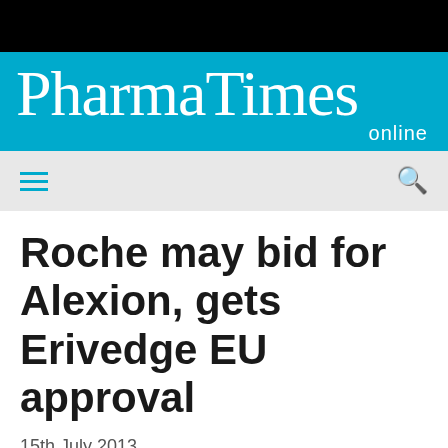[Figure (logo): PharmaTimes online logo on blue background]
Roche may bid for Alexion, gets Erivedge EU approval
15th July 2013